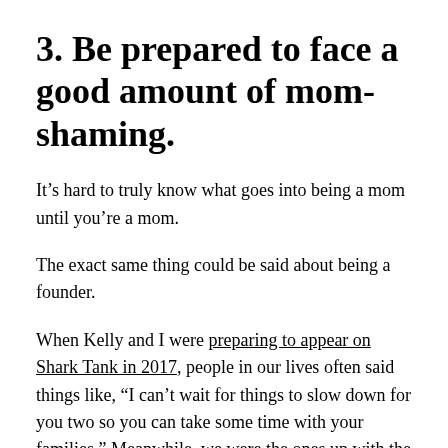3. Be prepared to face a good amount of mom-shaming.
It’s hard to truly know what goes into being a mom until you’re a mom.
The exact same thing could be said about being a founder.
When Kelly and I were preparing to appear on Shark Tank in 2017, people in our lives often said things like, “I can’t wait for things to slow down for you two so you can take some time with your families.” Meanwhile, we were the ones up with the kids in the morning, taking them to school, staying up with them